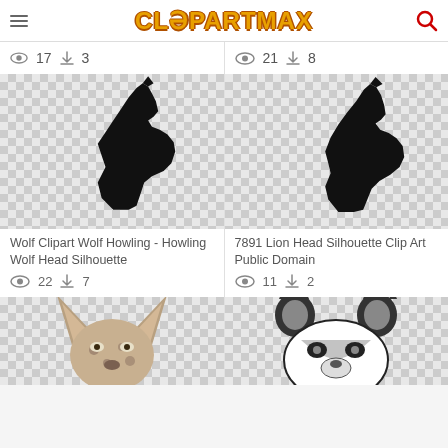ClipArtMax
[Figure (illustration): Partial card top with view count 17 and download count 3]
[Figure (illustration): Partial card top with view count 21 and download count 8]
[Figure (illustration): Wolf Clipart Wolf Howling - black wolf silhouette on transparent/checker background]
Wolf Clipart Wolf Howling - Howling Wolf Head Silhouette
22 views, 7 downloads
[Figure (illustration): 7891 Lion Head Silhouette Clip Art - black animal silhouette on checker background]
7891 Lion Head Silhouette Clip Art Public Domain
11 views, 2 downloads
[Figure (illustration): Hyena or spotted animal face clip art - color illustration on checker background]
[Figure (illustration): Raccoon or similar animal face black and white with grey tones - on checker background]